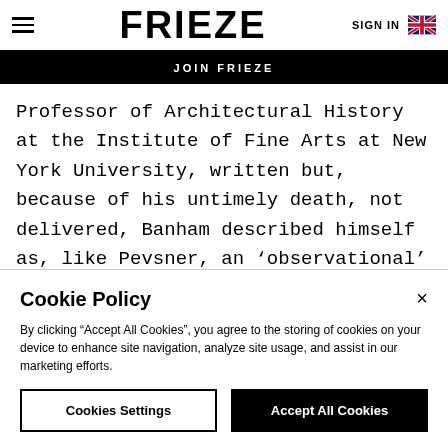FRIEZE | SIGN IN
JOIN FRIEZE
Professor of Architectural History at the Institute of Fine Arts at New York University, written but, because of his untimely death, not delivered, Banham described himself as, like Pevsner, an ‘observational’ historian. ‘This kind of architectural history’, he added,
Cookie Policy
By clicking “Accept All Cookies”, you agree to the storing of cookies on your device to enhance site navigation, analyze site usage, and assist in our marketing efforts.
Cookies Settings | Accept All Cookies